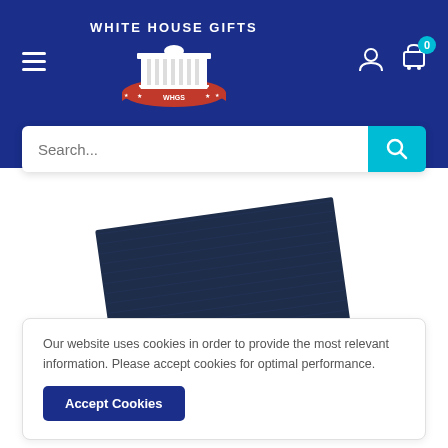[Figure (screenshot): White House Gifts website header with navigation, logo, search bar, product image, and cookie consent banner]
Search...
[Figure (photo): Navy blue rectangular product (appears to be a folded item like a notepad or folder) shown at a slight angle]
Our website uses cookies in order to provide the most relevant information. Please accept cookies for optimal performance.
Accept Cookies